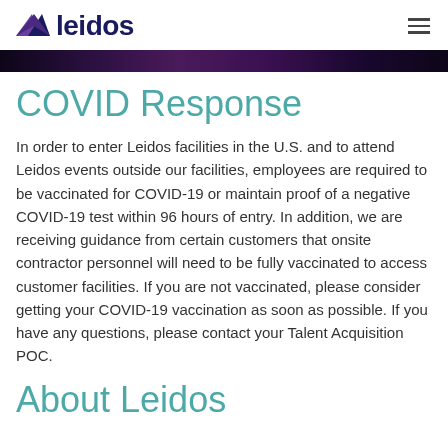leidos
[Figure (illustration): Dark banner image strip across the top of the content area]
COVID Response
In order to enter Leidos facilities in the U.S. and to attend Leidos events outside our facilities, employees are required to be vaccinated for COVID-19 or maintain proof of a negative COVID-19 test within 96 hours of entry. In addition, we are receiving guidance from certain customers that onsite contractor personnel will need to be fully vaccinated to access customer facilities. If you are not vaccinated, please consider getting your COVID-19 vaccination as soon as possible. If you have any questions, please contact your Talent Acquisition POC.
About Leidos